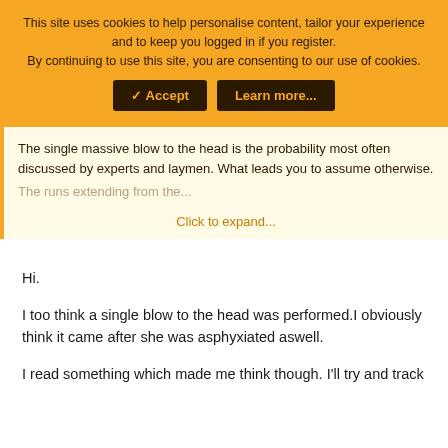This site uses cookies to help personalise content, tailor your experience and to keep you logged in if you register.
By continuing to use this site, you are consenting to our use of cookies.
✓ Accept  Learn more...
The single massive blow to the head is the probability most often discussed by experts and laymen. What leads you to assume otherwise.
The runs extending from the... Click to expand...
Hi.
I too think a single blow to the head was performed.I obviously think it came after she was asphyxiated aswell.
I read something which made me think though. I'll try and track